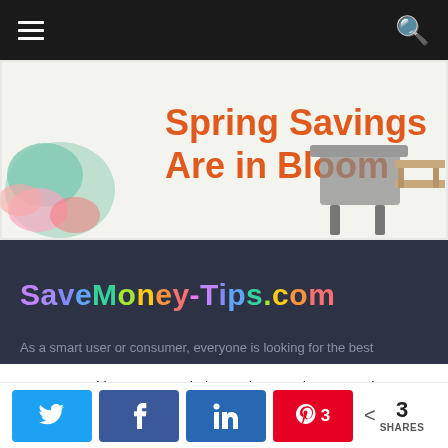Navigation bar with hamburger menu and search icon
[Figure (illustration): Banner advertisement: Spring Savings Are in Bloom with decorative floral design, grill, and outdoor bench]
SaveMoney-Tips.com
As a smart user or consumer, everyone is looking for the best
We use cookies on our website to give you the most relevant experience by remembering your preferences and repeat visits. By clicking “Accept”, you consent to the use of ALL the cookies.
Cookie settings | ACCEPT
[Figure (infographic): Social share buttons: Twitter, Facebook, LinkedIn, Pinterest (3), and total share count 3 SHARES]